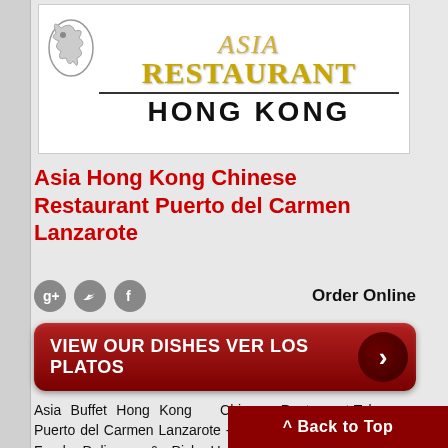[Figure (logo): Asia Restaurant Hong Kong logo with dragon graphic, golden decorative text and bold black HONG KONG text]
Asia Hong Kong Chinese Restaurant Puerto del Carmen Lanzarote
Order Online
[Figure (other): Red button: VIEW OUR DISHES VER LOS PLATOS with arrow]
Asia Buffet Hong Kong Chinese Restaurant Takeaway Puerto del Carmen Lanzarote - Tias, Macher, Puerto Calero, Food Delivery & Pick Up | TakeawayLanzarote Group | Canarias | Las Palmas  Open Daily : 12:00 Chinese
^ Back to Top